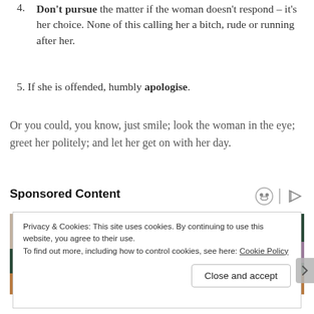4. Don't pursue the matter if the woman doesn't respond – it's her choice. None of this calling her a bitch, rude or running after her.
5. If she is offended, humbly apologise.
Or you could, you know, just smile; look the woman in the eye; greet her politely; and let her get on with her day.
Sponsored Content
[Figure (photo): A man wearing sunglasses sitting in stadium seating, with a woman beside him, green seats visible in background.]
Privacy & Cookies: This site uses cookies. By continuing to use this website, you agree to their use.
To find out more, including how to control cookies, see here: Cookie Policy
Close and accept